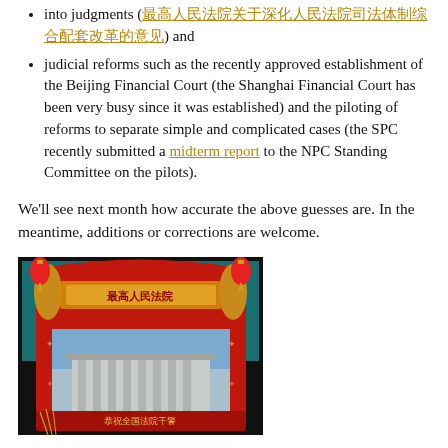into judgments (最高人民法院关于深化人民法院司法体制综合配套改革的意见) and
judicial reforms such as the recently approved establishment of the Beijing Financial Court (the Shanghai Financial Court has been very busy since it was established) and the piloting of reforms to separate simple and complicated cases (the SPC recently submitted a midterm report to the NPC Standing Committee on the pilots).
We'll see next month how accurate the above guesses are. In the meantime, additions or corrections are welcome.
[Figure (photo): Decorative Chinese New Year style image featuring red lanterns, a red scroll banner with Chinese text reading 最高人民法院 (Supreme People's Court), a photograph of a large government building with columns, and text at the bottom reading 恭祝全国法院干警 (Congratulations to court staff nationwide). The image has a festive red and gold color scheme.]